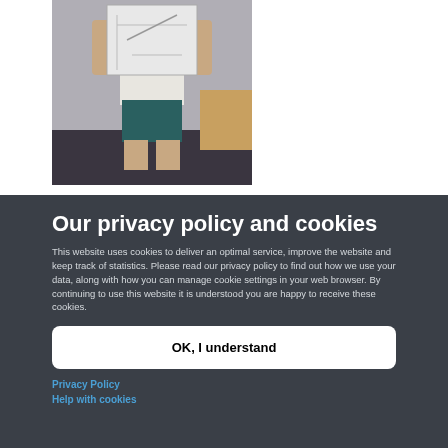[Figure (photo): A person standing holding up a piece of paper in front of their face, wearing a white shirt and dark shorts, in an office room.]
Our privacy policy and cookies
This website uses cookies to deliver an optimal service, improve the website and keep track of statistics. Please read our privacy policy to find out how we use your data, along with how you can manage cookie settings in your web browser. By continuing to use this website it is understood you are happy to receive these cookies.
OK, I understand
Privacy Policy
Help with cookies